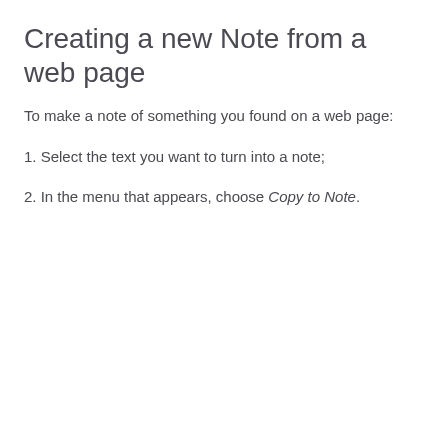Creating a new Note from a web page
To make a note of something you found on a web page:
1. Select the text you want to turn into a note;
2. In the menu that appears, choose Copy to Note.